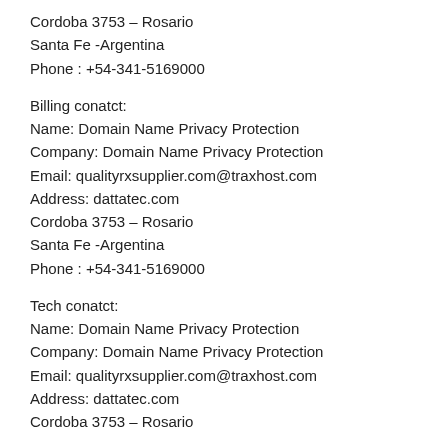Cordoba 3753 – Rosario
Santa Fe -Argentina
Phone : +54-341-5169000
Billing conatct:
Name: Domain Name Privacy Protection
Company: Domain Name Privacy Protection
Email: qualityrxsupplier.com@traxhost.com
Address: dattatec.com
Cordoba 3753 – Rosario
Santa Fe -Argentina
Phone : +54-341-5169000
Tech conatct:
Name: Domain Name Privacy Protection
Company: Domain Name Privacy Protection
Email: qualityrxsupplier.com@traxhost.com
Address: dattatec.com
Cordoba 3753 – Rosario